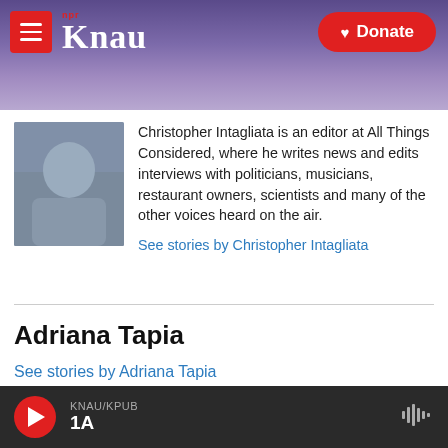KNAU NPR / Donate
[Figure (photo): Headshot photo of Christopher Intagliata]
Christopher Intagliata is an editor at All Things Considered, where he writes news and edits interviews with politicians, musicians, restaurant owners, scientists and many of the other voices heard on the air.
See stories by Christopher Intagliata
Adriana Tapia
See stories by Adriana Tapia
KNAU/KPUB 1A